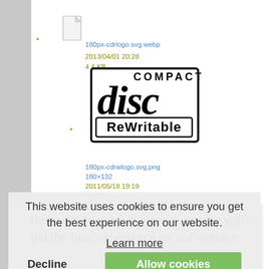180px-cdrlogo.svg.webp — 2013/04/01 20:28 — 4.4 KB
[Figure (logo): Compact Disc ReWritable logo — black outlined text logo with COMPACT DISC on top and ReWritable in a rounded rectangle box]
180px-cdrwlogo.svg.png — 180×132 — 2011/05/18 19:19 — 5.4 KB
180px-cdrwlogo.svg.webp — 2013/04/01 20:28 — 4.3 KB
[Figure (logo): DVD logo watermark — teal/cyan stylized DVD text with disc graphic underneath]
200px-dvd svg.png — 200×88
This website uses cookies to ensure you get the best experience on our website. Learn more
Decline    Allow cookies